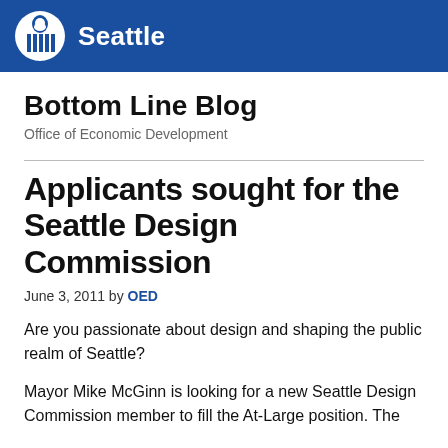[Figure (logo): City of Seattle government logo — circular emblem with stylized figure and vertical lines, white on blue background, next to the word 'Seattle' in white bold text on blue bar]
Bottom Line Blog
Office of Economic Development
Applicants sought for the Seattle Design Commission
June 3, 2011 by OED
Are you passionate about design and shaping the public realm of Seattle?
Mayor Mike McGinn is looking for a new Seattle Design Commission member to fill the At-Large position. The